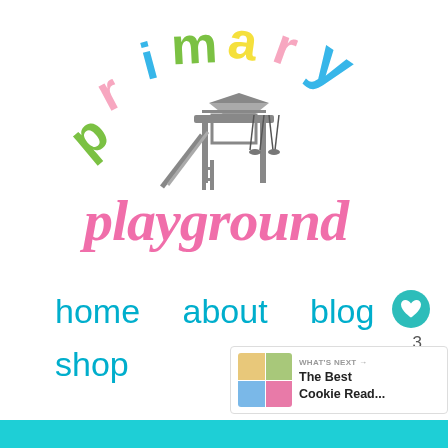[Figure (logo): Primary Playground logo with colorful arched text spelling 'primary' in green, pink, blue, and yellow letters, a gray playground structure in the center, and 'playground' in pink cursive script below]
home   about   blog
shop
[Figure (infographic): What's Next widget showing thumbnail and text 'The Best Cookie Read...']